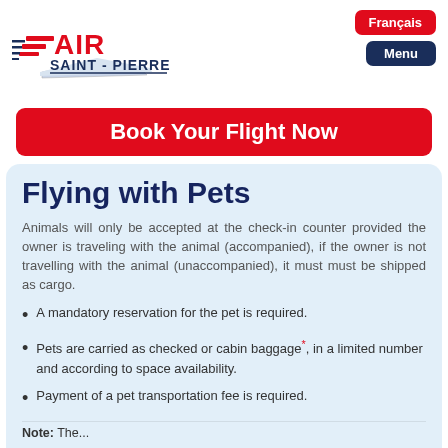[Figure (logo): Air Saint-Pierre airline logo with red and blue styling, featuring stylized wings and text 'AIR SAINT-PIERRE']
Français
Menu
Book Your Flight Now
Flying with Pets
Animals will only be accepted at the check-in counter provided the owner is traveling with the animal (accompanied), if the owner is not travelling with the animal (unaccompanied), it must must be shipped as cargo.
A mandatory reservation for the pet is required.
Pets are carried as checked or cabin baggage*, in a limited number and according to space availability.
Payment of a pet transportation fee is required.
Note: The...